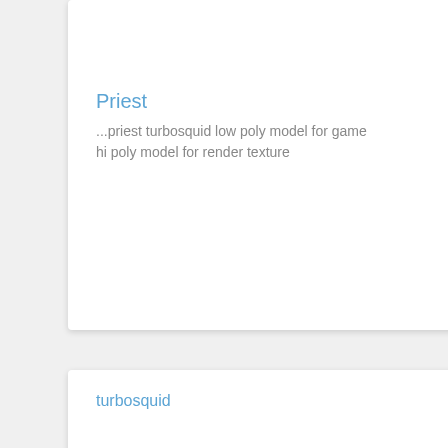Priest
...priest turbosquid low poly model for game hi poly model for render texture
turbosquid
free
Prie...